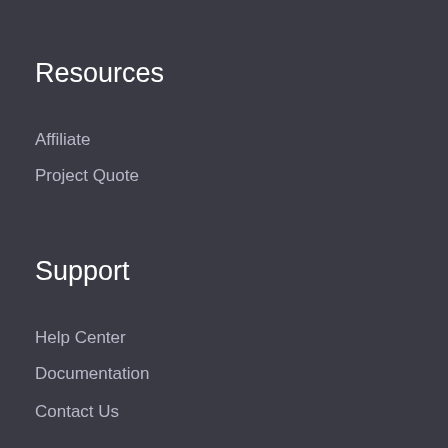Resources
Affiliate
Project Quote
Support
Help Center
Documentation
Contact Us
Company
About Us